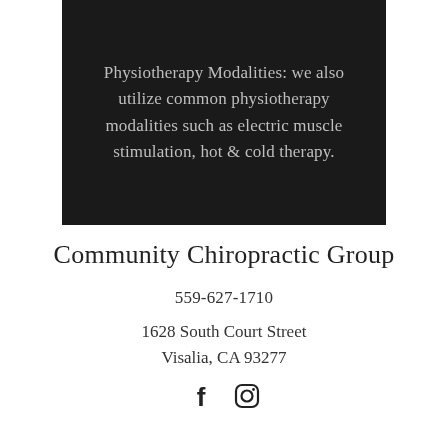Physiotherapy Modalities: we also utilize common physiotherapy modalities such as electric muscle stimulation, hot & cold therapy.
Community Chiropractic Group
559-627-1710
1628 South Court Street
Visalia, CA 93277
[Figure (other): Social media icons: Facebook and Instagram]